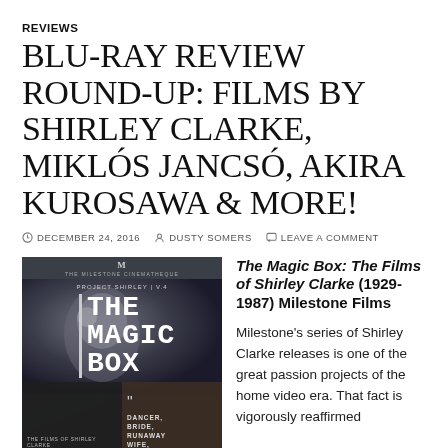REVIEWS
BLU-RAY REVIEW ROUND-UP: FILMS BY SHIRLEY CLARKE, MIKLÓS JANCSÓ, AKIRA KUROSAWA & MORE!
DECEMBER 24, 2016   DUSTY SOMERS   LEAVE A COMMENT
[Figure (photo): Movie cover for The Magic Box: The Films of Shirley Clarke 1929-1987, a Milestone Cinematheque release. Shows stylized text and a film collage with faces. Text reads: PROJECT SHIRLEY | V.4, THE MAGIC BOX, THE FILMS OF SHIRLEY CLARKE 1929 — 1987, and a quote panel reading DANCER, BRIDE, RUNAWAY WIFE, RADICAL.]
The Magic Box: The Films of Shirley Clarke (1929-1987) Milestone Films

Milestone's series of Shirley Clarke releases is one of the great passion projects of the home video era. That fact is vigorously reaffirmed